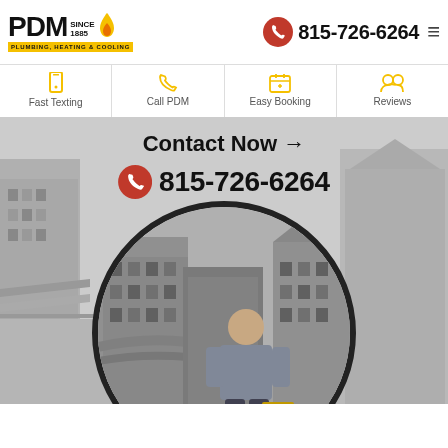[Figure (logo): PDM Plumbing, Heating & Cooling logo with flame icon and 'Since 1885' text]
815-726-6264
Fast Texting
Call PDM
Easy Booking
Reviews
Contact Now →
815-726-6264
[Figure (photo): Circular photo showing a PDM technician standing in front of a black and white city street scene (Joliet, IL historic downtown). Yellow arc at bottom of circle.]